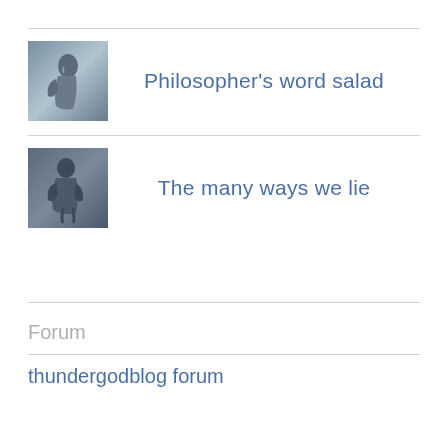[Figure (illustration): Thumbnail image of a philosopher statue (The Thinker style)]
Philosopher's word salad
[Figure (illustration): Thumbnail image of a sculpture figure]
The many ways we lie
Forum
thundergodblog forum
POWERED BY WORDPRESS.COM.